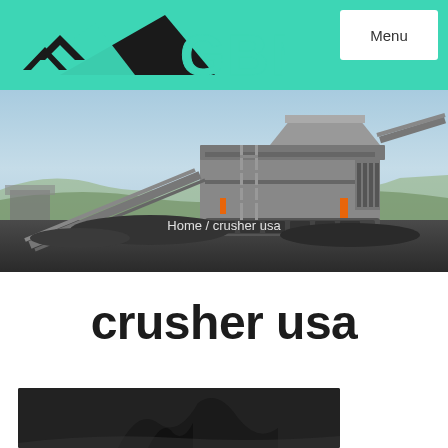GBM
[Figure (photo): Mobile crushing plant / machinery in an outdoor mining site with blue sky background]
Home / crusher usa
crusher usa
[Figure (photo): Close-up dark image of a crusher component (partially visible at bottom of page)]